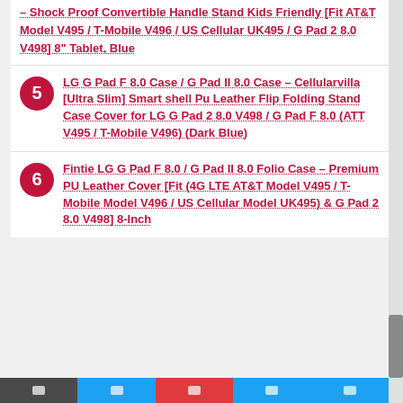– Shock Proof Convertible Handle Stand Kids Friendly [Fit AT&T Model V495 / T-Mobile V496 / US Cellular UK495 / G Pad 2 8.0 V498] 8" Tablet, Blue
5 LG G Pad F 8.0 Case / G Pad II 8.0 Case – Cellularvilla [Ultra Slim] Smart shell Pu Leather Flip Folding Stand Case Cover for LG G Pad 2 8.0 V498 / G Pad F 8.0 (ATT V495 / T-Mobile V496) (Dark Blue)
6 Fintie LG G Pad F 8.0 / G Pad II 8.0 Folio Case – Premium PU Leather Cover [Fit (4G LTE AT&T Model V495 / T-Mobile Model V496 / US Cellular Model UK495) & G Pad 2 8.0 V498] 8-Inch